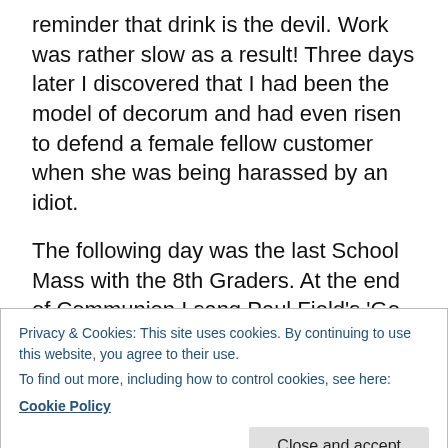reminder that drink is the devil. Work was rather slow as a result! Three days later I discovered that I had been the model of decorum and had even risen to defend a female fellow customer when she was being harassed by an idiot.
The following day was the last School Mass with the 8th Graders. At the end of Communion I sang Paul Field's 'Go peaceful' much to the tearful delight of the parents. After a bit of admin I retreated to the beach and then returned to work for choir practice during which we focussed on 'I shall be living' and Hallelujah Chorus for Pentecost Sunday.
Privacy & Cookies: This site uses cookies. By continuing to use this website, you agree to their use.
To find out more, including how to control cookies, see here:
Cookie Policy
Close and accept
despair that only 3 of the school choir turned up I